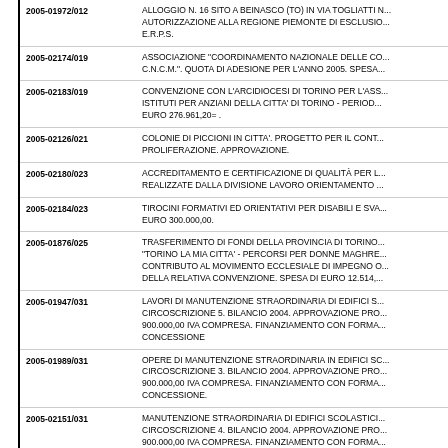2005-01972/012 | ALLOGGIO N. 16 SITO A BEINASCO (TO) IN VIA TOGLIATTI N. ... AUTORIZZAZIONE ALLA REGIONE PIEMONTE DI ESCLUSIO... E.R.P.S.
2005-02174/019 | ASSOCIAZIONE "COORDINAMENTO NAZIONALE DELLE CO... C.N.C.M.". QUOTA DI ADESIONE PER L'ANNO 2005. SPESA...
2005-02183/019 | CONVENZIONE CON L'ARCIDIOCESI DI TORINO PER L'ASS... ISTITUTI PER ANZIANI DELLA CITTA' DI TORINO - PERIOD... EURO 276.961,20= .
2005-02126/021 | COLONIE DI PICCIONI IN CITTA'. PROGETTO PER IL CONT... PROLIFERAZIONE. APPROVAZIONE.
2005-02180/023 | ACCREDITAMENTO E CERTIFICAZIONE DI QUALITÀ PER L... REALIZZATE DALLA DIVISIONE LAVORO ORIENTAMENTO ...
2005-02184/023 | TIROCINI FORMATIVI ED ORIENTATIVI PER DISABILI E SVA... EURO 300.000,00.
2005-01876/025 | TRASFERIMENTO DI FONDI DELLA PROVINCIA DI TORINO... "TORINO LA MIA CITTA' - PERCORSI PER DONNE MAGHRE... CONTRIBUTO AL MOVIMENTO ECCLESIALE DI IMPEGNO O... DELLA RELATIVA CONVENZIONE. SPESA DI EURO 12.514,...
2005-01947/031 | LAVORI DI MANUTENZIONE STRAORDINARIA DI EDIFICI S... CIRCOSCRIZIONE 5. BILANCIO 2004. APPROVAZIONE PRO... 900.000,00 IVA COMPRESA. FINANZIAMENTO CON FORMA... CONCESSIONE
2005-01989/031 | OPERE DI MANUTENZIONE STRAORDINARIA IN EDIFICI SC... CIRCOSCRIZIONE 3. BILANCIO 2004. APPROVAZIONE PRO... 900.000,00 IVA COMPRESA. FINANZIAMENTO CON FORMA... CONCESSIONE.
2005-02151/031 | MANUTENZIONE STRAORDINARIA DI EDIFICI SCOLASTICI... CIRCOSCRIZIONE 4. BILANCIO 2004. APPROVAZIONE PRO... 900.000,00 IVA COMPRESA. FINANZIAMENTO CON FORMA...